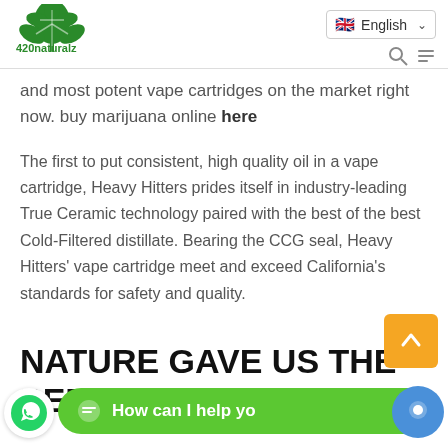[Figure (logo): 420naturalz cannabis leaf logo with green text '420naturalz' below]
[Figure (screenshot): Language selector showing UK flag and 'English' with dropdown chevron]
and most potent vape cartridges on the market right now. buy marijuana online here
The first to put consistent, high quality oil in a vape cartridge, Heavy Hitters prides itself in industry-leading True Ceramic technology paired with the best of the best Cold-Filtered distillate. Bearing the CCG seal, Heavy Hitters' vape cartridge meet and exceed California's standards for safety and quality.
NATURE GAVE US THE PERFECT P
[Figure (screenshot): Green WhatsApp chat button with text 'How can I help you']
[Figure (screenshot): Orange back-to-top arrow button]
[Figure (logo): WhatsApp phone icon button (green circle)]
[Figure (screenshot): Blue chat circle button on right side]